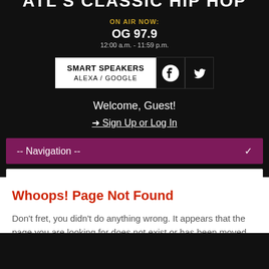ATL'S CLASSIC HIP HOP
ON AIR NOW: OG 97.9 12:00 a.m. - 11:59 p.m.
[Figure (screenshot): Smart Speakers Alexa/Google button with Facebook and Twitter social icons]
Welcome, Guest!
➜ Sign Up or Log In
-- Navigation --
Search
Whoops! Page Not Found
Don't fret, you didn't do anything wrong. It appears that the page you are looking for does not exist or has been moved.